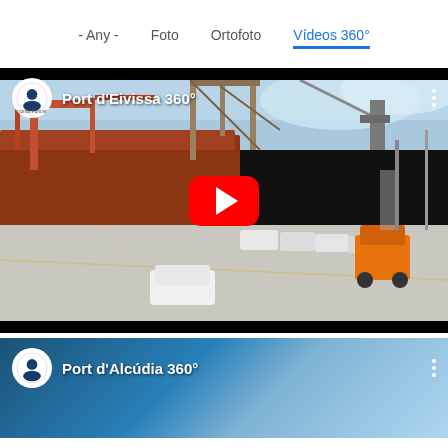- Any -  Foto  Ortofoto  Vídeos 360°
[Figure (screenshot): YouTube video thumbnail for 'Port d'Eivissa 360°' showing a 360-degree panoramic view of the port with industrial cranes, a large ship, and vehicles in the foreground. YouTube play button overlay visible.]
[Figure (screenshot): YouTube video card for 'Port d'Alcúdia 360°' showing a blue water/sky background, partially visible at the bottom of the page.]